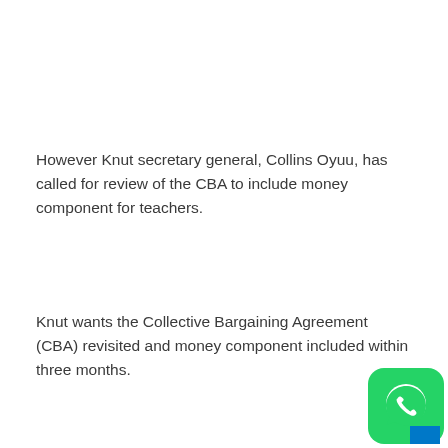However Knut secretary general, Collins Oyuu, has called for review of the CBA to include money component for teachers.
Knut wants the Collective Bargaining Agreement (CBA) revisited and money component included within three months.
[Figure (logo): WhatsApp logo icon — green rounded square with white phone/chat bubble icon]